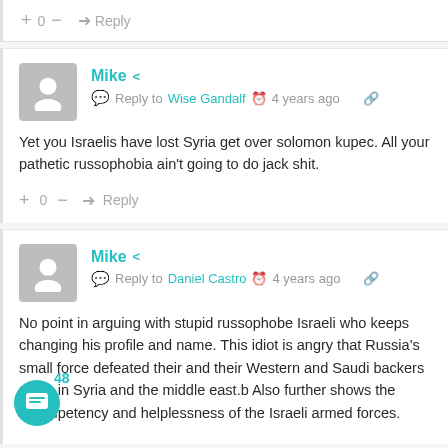+ 0 — Reply
Mike · Reply to Wise Gandalf · 4 years ago
Yet you Israelis have lost Syria get over solomon kupec. All your pathetic russophobia ain't going to do jack shit.
+ 0 — Reply
Mike · Reply to Daniel Castro · 4 years ago
No point in arguing with stupid russophobe Israeli who keeps changing his profile and name. This idiot is angry that Russia's small force defeated their and their Western and Saudi backers plans in Syria and the middle east.b Also further shows the incompetency and helplessness of the Israeli armed forces.